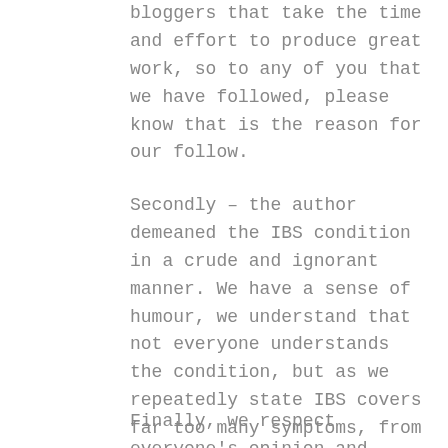bloggers that take the time and effort to produce great work, so to any of you that we have followed, please know that is the reason for our follow.
Secondly – the author demeaned the IBS condition in a crude and ignorant manner. We have a sense of humour, we understand that not everyone understands the condition, but as we repeatedly state IBS covers far too many symptoms, from mild bloating through to debilitating pain, and anxiety. We took it in good humour originally, however the authors inability to allow our perfectly reasonable comments to be published has angered us deeply.
Finally, we respect everyone's opinion and right